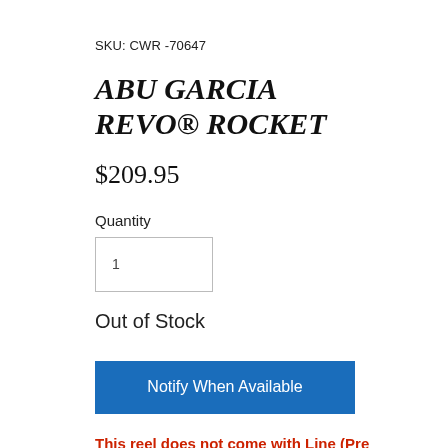SKU: CWR -70647
ABU GARCIA REVO® ROCKET
$209.95
Quantity
1
Out of Stock
Notify When Available
This reel does not come with Line (Pre strung). Make sure you add line